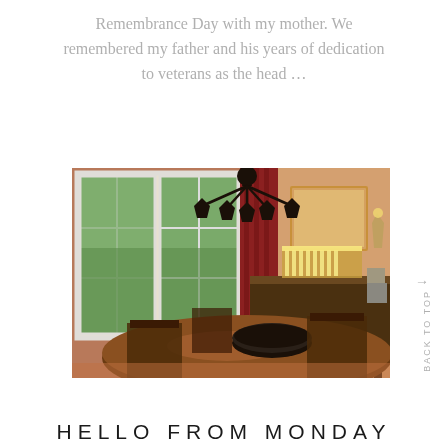Remembrance Day with my mother. We remembered my father and his years of dedication to veterans as the head …
[Figure (photo): Interior dining room photo showing a wooden dining table with chairs, a dark bowl on the table, a sideboard with candles and a mirror, red curtains by bay windows with green trees visible outside, and a wrought iron chandelier above.]
BACK TO TOP
HELLO FROM MONDAY